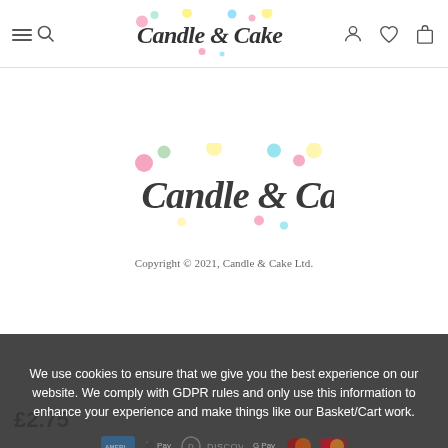[Figure (logo): Candle & Cake logo in header navigation bar with colorful dots/bubbles. Menu and search icons on left, user/heart/bag icons on right.]
[Figure (logo): Candle & Cake logo centered in main content area with colorful pastel bubble dots around the text.]
Copyright © 2021,  Candle & Cake Ltd.
We use cookies to ensure that we give you the best experience on our website. We comply with GDPR rules and only use this information to enhance your experience and make things like our Basket/Cart work.
[Figure (infographic): Row of payment icons: American Express, Apple Pay, Diners Club, Discover, Google Pay, Maestro, Mastercard]
PRIVACY POLICY    ACCEPT ✓
£2.75